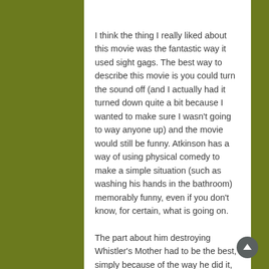I think the thing I really liked about this movie was the fantastic way it used sight gags. The best way to describe this movie is you could turn the sound off (and I actually had it turned down quite a bit because I wanted to make sure I wasn't going to way anyone up) and the movie would still be funny. Atkinson has a way of using physical comedy to make a simple situation (such as washing his hands in the bathroom) memorably funny, even if you don't know, for certain, what is going on.
The part about him destroying Whistler's Mother had to be the best, simply because of the way he did it, starting with a tiny spot and progressively making things worse as he tried to correct his original problem.
Of course, even though that scene is one of the most memorable, the fact he pretty much leaves a path of destruction everywhere he